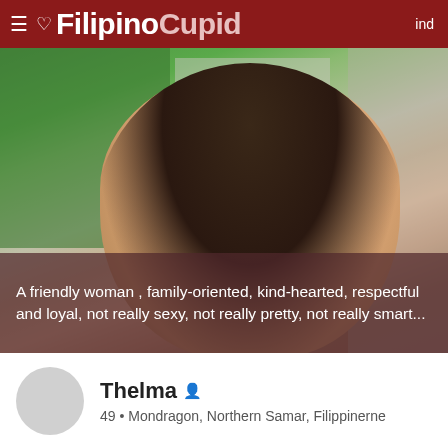FilipinoCupid  ind
[Figure (photo): Profile photo of a woman wearing glasses and a pink top, sitting at a desk with a green wall and office items visible in the background.]
A friendly woman , family-oriented, kind-hearted, respectful and loyal, not really sexy, not really pretty, not really smart...
Thelma  49 • Mondragon, Northern Samar, Filippinerne